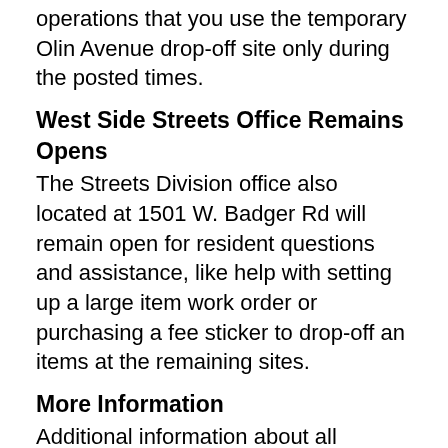operations that you use the temporary Olin Avenue drop-off site only during the posted times.
West Side Streets Office Remains Opens
The Streets Division office also located at 1501 W. Badger Rd will remain open for resident questions and assistance, like help with setting up a large item work order or purchasing a fee sticker to drop-off an items at the remaining sites.
More Information
Additional information about all Streets Division services can be found at www.cityofmadison.com/Streets.
More information specific to the drop-off sites can be found at www.cityofmadison.com/DropOffSites.